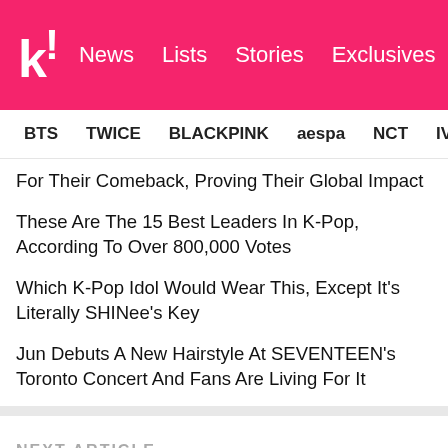k! News Lists Stories Exclusives
BTS   TWICE   BLACKPINK   aespa   NCT   IVE   SHINe
For Their Comeback, Proving Their Global Impact
These Are The 15 Best Leaders In K-Pop, According To Over 800,000 Votes
Which K-Pop Idol Would Wear This, Except It's Literally SHINee's Key
Jun Debuts A New Hairstyle At SEVENTEEN's Toronto Concert And Fans Are Living For It
NEXT ARTICLE
Weki Meki's Yoojung Did A Dance Cover Of Boy Group Songs And It Was Stunning